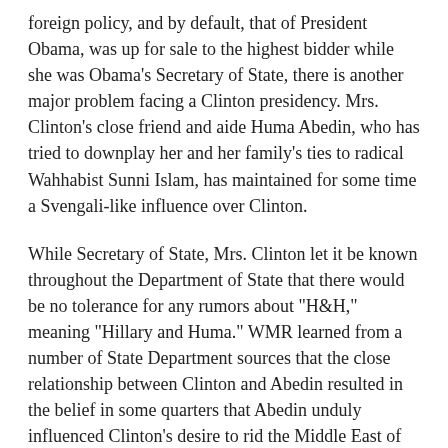foreign policy, and by default, that of President Obama, was up for sale to the highest bidder while she was Obama's Secretary of State, there is another major problem facing a Clinton presidency. Mrs. Clinton's close friend and aide Huma Abedin, who has tried to downplay her and her family's ties to radical Wahhabist Sunni Islam, has maintained for some time a Svengali-like influence over Clinton.
While Secretary of State, Mrs. Clinton let it be known throughout the Department of State that there would be no tolerance for any rumors about "H&H," meaning "Hillary and Huma." WMR learned from a number of State Department sources that the close relationship between Clinton and Abedin resulted in the belief in some quarters that Abedin unduly influenced Clinton's desire to rid the Middle East of enemies of Wahhabism, namely, Libyan leader Muammar Qaddafi, Syrian President Bashar al-Assad, Egyptian President Hosni Mubarak, Iraqi Prime Minister Nouri al-Maliki, Lebanese Prime Minister Najib Mikati, and Yemeni President Ali Abdullah Saleh. Only Assad survived the decision by Clinton to back massive street revolts, with the